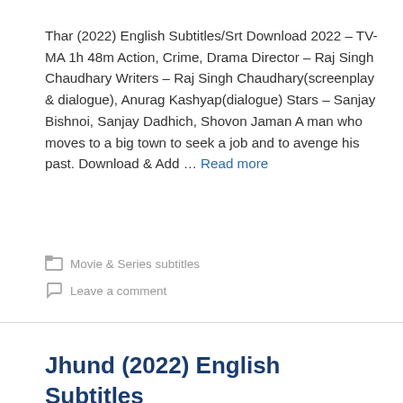Thar (2022) English Subtitles/Srt Download 2022 – TV-MA 1h 48m Action, Crime, Drama Director – Raj Singh Chaudhary Writers – Raj Singh Chaudhary(screenplay & dialogue), Anurag Kashyap(dialogue) Stars – Sanjay Bishnoi, Sanjay Dadhich, Shovon Jaman A man who moves to a big town to seek a job and to avenge his past. Download & Add … Read more
Movie & Series subtitles
Leave a comment
Jhund (2022) English Subtitles